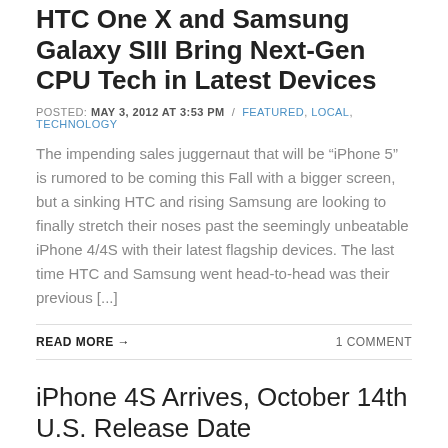HTC One X and Samsung Galaxy SIII Bring Next-Gen CPU Tech in Latest Devices
POSTED: MAY 3, 2012 AT 3:53 PM / FEATURED, LOCAL, TECHNOLOGY
The impending sales juggernaut that will be “iPhone 5” is rumored to be coming this Fall with a bigger screen, but a sinking HTC and rising Samsung are looking to finally stretch their noses past the seemingly unbeatable iPhone 4/4S with their latest flagship devices. The last time HTC and Samsung went head-to-head was their previous [...]
READ MORE →
1 COMMENT
iPhone 4S Arrives, October 14th U.S. Release Date
POSTED: OCTOBER 5, 2011 AT 8:18 AM / LOCAL, TECHNOLOGY
Apple announced today that the next iPhone is indeed